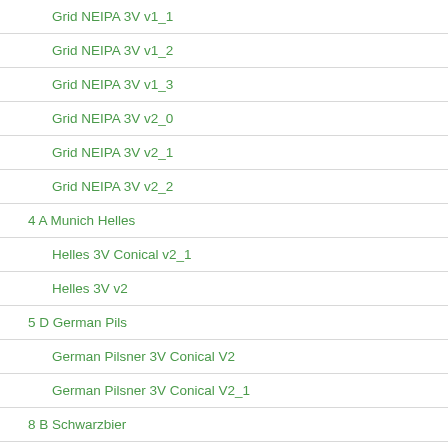Grid NEIPA 3V v1_1
Grid NEIPA 3V v1_2
Grid NEIPA 3V v1_3
Grid NEIPA 3V v2_0
Grid NEIPA 3V v2_1
Grid NEIPA 3V v2_2
4 A Munich Helles
Helles 3V Conical v2_1
Helles 3V v2
5 D German Pils
German Pilsner 3V Conical V2
German Pilsner 3V Conical V2_1
8 B Schwarzbier